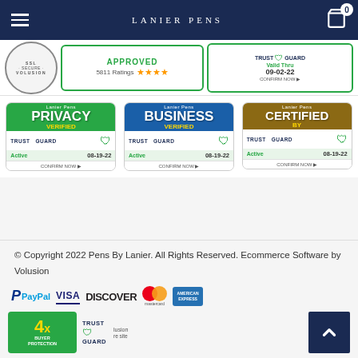LANIER PENS
[Figure (logo): Volusion SSL secure site badge (circular badge)]
[Figure (logo): Approved badge with 5811 Ratings and 4 orange stars]
[Figure (logo): Trust Guard Valid Thru 09-02-22 CONFIRM NOW badge]
[Figure (logo): Lanier Pens Privacy Verified Trust Guard Active 08-19-22 CONFIRM NOW badge]
[Figure (logo): Lanier Pens Business Verified Trust Guard Active 08-19-22 CONFIRM NOW badge]
[Figure (logo): Lanier Pens Certified By Trust Guard Active 08-19-22 CONFIRM NOW badge]
© Copyright 2022 Pens By Lanier. All Rights Reserved. Ecommerce Software by Volusion
[Figure (logo): PayPal logo]
[Figure (logo): VISA logo]
[Figure (logo): DISCOVER logo]
[Figure (logo): Mastercard logo]
[Figure (logo): American Express logo]
[Figure (logo): 4x Buyer Protection Trust Guard badge]
[Figure (logo): Volusion secure site badge]
[Figure (logo): Scroll to top button (navy blue with white chevron)]